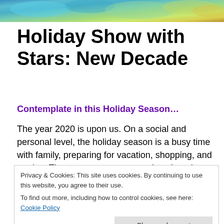[Figure (illustration): Colorful abstract banner image with blues, greens, and yellows at the top of the page]
Holiday Show with Stars: New Decade
Contemplate in this Holiday Season…
The year 2020 is upon us. On a social and personal level, the holiday season is a busy time with family, preparing for vacation, shopping, and parties. These events are tremendous but also a bit overwhelming emotionally. Your plans, hospitality, and how you organize things don't have
Privacy & Cookies: This site uses cookies. By continuing to use this website, you agree to their use.
To find out more, including how to control cookies, see here: Cookie Policy
disasters, celebrations…It is good to reflect, but try not to